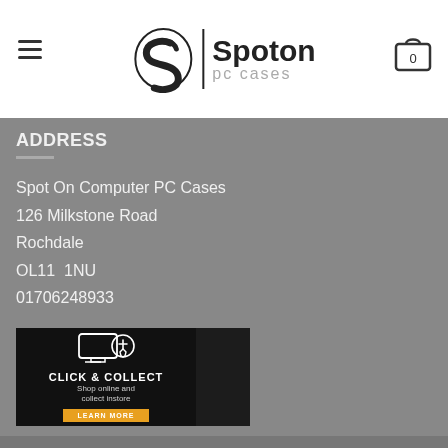Spoton pc cases
ADDRESS
Spot On Computer PC Cases
126 Milkstone Road
Rochdale
OL11 1NU
01706248933
[Figure (illustration): Click & Collect banner: monitor with hand cursor icon, text 'CLICK & COLLECT', 'Shop online and collect instore', orange 'LEARN MORE' button]